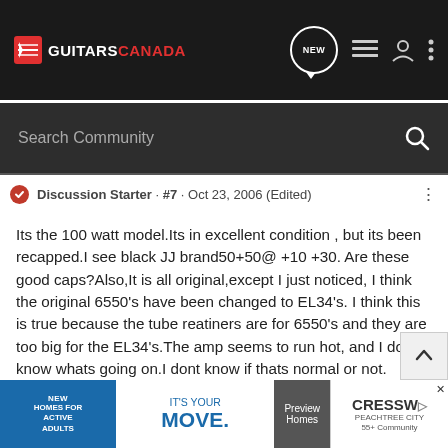GuitarsCanada — navigation bar with logo, NEW chat bubble, list icon, user icon, more icon
Search Community
Discussion Starter · #7 · Oct 23, 2006 (Edited)
Its the 100 watt model.Its in excellent condition , but its been recapped.I see black JJ brand50+50@ +10 +30. Are these good caps?Also,It is all original,except I just noticed, I think the original 6550's have been changed to EL34's. I think this is true because the tube reatiners are for 6550's and they are too big for the EL34's.The amp seems to run hot, and I dont know whats going on.I dont know if thats normal or not. Probably time to have a tech make certain its biased correctly.Is there something involved to change tubes from the 6550's to the EL34's and back? thanks P.S. I paid 700.00 U.S. I wouldve been a lot happier to pay 650.00 but was afraid to lose it. I dont know no... the...about the...Almost a few months.
[Figure (other): Advertisement banner: NEW HOMES FOR ACTIVE ADULTS | IT'S YOUR MOVE. | Preview Homes | CRESSWIND PEACHTREE CITY 55+ Community]